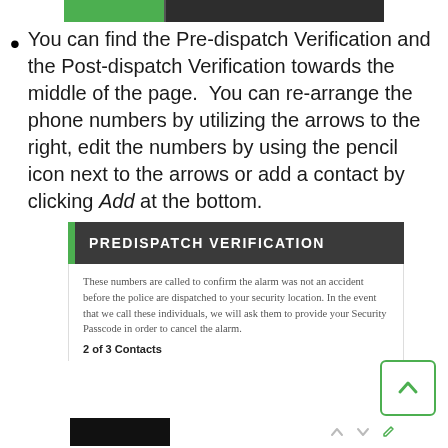[Figure (screenshot): Top portion of a UI screenshot showing a dark toolbar with a green tab and dark section]
You can find the Pre-dispatch Verification and the Post-dispatch Verification towards the middle of the page.  You can re-arrange the phone numbers by utilizing the arrows to the right, edit the numbers by using the pencil icon next to the arrows or add a contact by clicking Add at the bottom.
[Figure (screenshot): PREDISPATCH VERIFICATION panel with dark header, green left bar, description text about numbers being called to confirm alarm, showing 2 of 3 Contacts, with an up arrow button and a contact row at bottom with up/down/pencil icons]